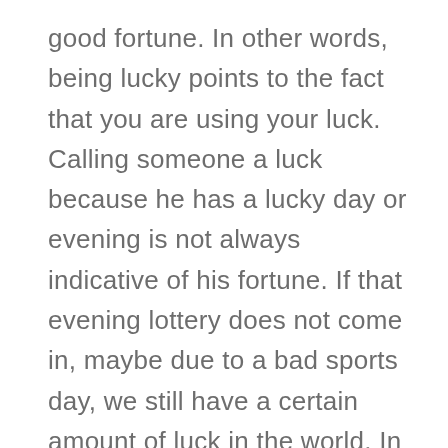good fortune. In other words, being lucky points to the fact that you are using your luck. Calling someone a luck because he has a lucky day or evening is not always indicative of his fortune. If that evening lottery does not come in, maybe due to a bad sports day, we still have a certain amount of luck in the world. In this scenario, calling someone a luckWin is not bad anyway. We do not necessarily need it. In fact, we could say luck is completely about the control you exercise over your life.